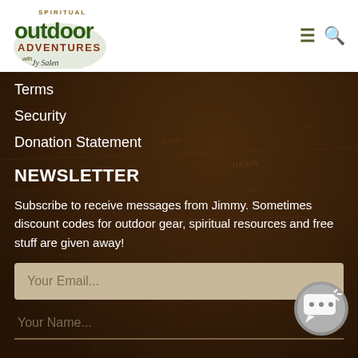[Figure (logo): Spiritual Outdoor Adventures logo with text and signature]
Terms
Security
Donation Statement
NEWSLETTER
Subscribe to receive messages from Jimmy. Sometimes discount codes for outdoor gear, spiritual resources and free stuff are given away!
Your Email...
Your Name...